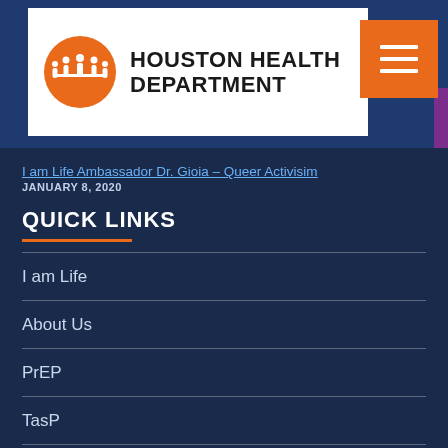[Figure (logo): Houston Health Department logo with orange circular icon and text]
I am Life Ambassador Dr. Gioia – Queer Activisim
JANUARY 8, 2020
QUICK LINKS
I am Life
About Us
PrEP
TasP
HIV Overview